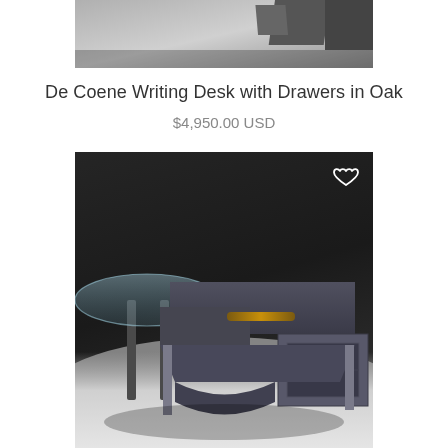[Figure (photo): Partial view of a modern furniture piece photographed from above, showing geometric shapes in gray tones — appears to be the top portion of a desk or shelving unit]
De Coene Writing Desk with Drawers in Oak
$4,950.00 USD
[Figure (photo): A modern executive desk with an L-shaped configuration in dark gray/anthracite finish, with a glass-topped round side table on the left, an orange/wood accent handle, a drawer unit on the right, and metal legs. The desk is photographed against a dark gray background with a light floor. A heart/wishlist icon appears in the top-right corner of the image.]